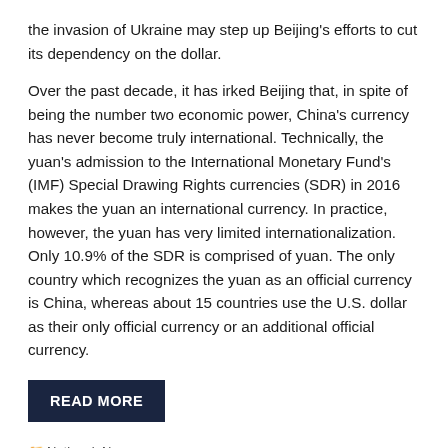the invasion of Ukraine may step up Beijing's efforts to cut its dependency on the dollar.
Over the past decade, it has irked Beijing that, in spite of being the number two economic power, China's currency has never become truly international. Technically, the yuan's admission to the International Monetary Fund's (IMF) Special Drawing Rights currencies (SDR) in 2016 makes the yuan an international currency. In practice, however, the yuan has very limited internationalization. Only 10.9% of the SDR is comprised of yuan. The only country which recognizes the yuan as an official currency is China, whereas about 15 countries use the U.S. dollar as their only official currency or an additional official currency.
READ MORE
National, News   China, International Currency, Ukraine, Vladimir Putin, yuan   Leave a comment